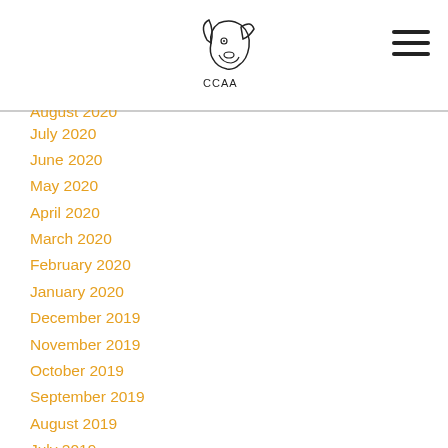CCAA logo and navigation menu icon
July 2020
June 2020
May 2020
April 2020
March 2020
February 2020
January 2020
December 2019
November 2019
October 2019
September 2019
August 2019
July 2019
June 2019
May 2019
April 2019